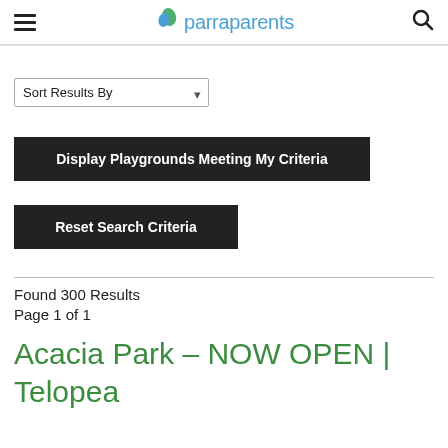parraparents
Sort Results By
Display Playgrounds Meeting My Criteria
Reset Search Criteria
Found 300 Results
Page 1 of 1
Acacia Park – NOW OPEN | Telopea